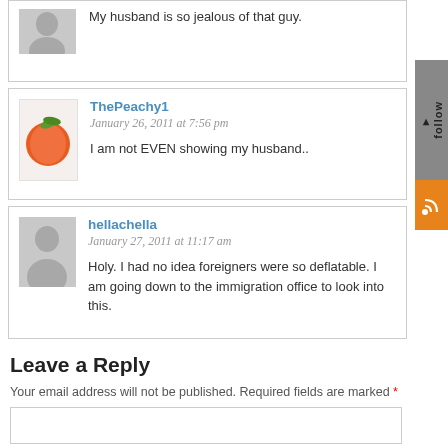My husband is so jealous of that guy.
ThePeachy1
January 26, 2011 at 7:56 pm
I am not EVEN showing my husband..
hellachella
January 27, 2011 at 11:17 am
Holy. I had no idea foreigners were so deflatable. I am going down to the immigration office to look into this.
Leave a Reply
Your email address will not be published. Required fields are marked *